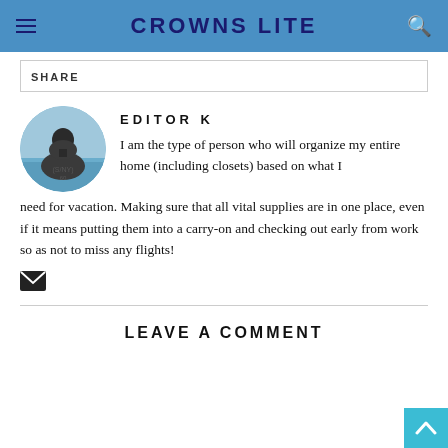CROWNS LITE
SHARE
[Figure (photo): Circular avatar photo of a person viewed from behind wearing a hoodie, standing near the ocean]
EDITOR K
I am the type of person who will organize my entire home (including closets) based on what I need for vacation. Making sure that all vital supplies are in one place, even if it means putting them into a carry-on and checking out early from work so as not to miss any flights!
LEAVE A COMMENT